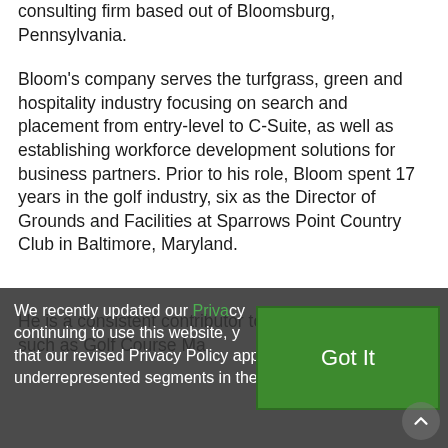consulting firm based out of Bloomsburg, Pennsylvania.
Bloom's company serves the turfgrass, green and hospitality industry focusing on search and placement from entry-level to C-Suite, as well as establishing workforce development solutions for business partners. Prior to his role, Bloom spent 17 years in the golf industry, six as the Director of Grounds and Facilities at Sparrows Point Country Club in Baltimore, Maryland.
He is a consistent contributor to industry publications such as Golf Course Management...
We recently updated our Privacy Policy. By continuing to use this website, you agree that our revised Privacy Policy applies. underrepresented segments in the workforce.